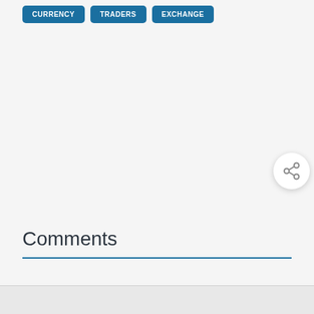CURRENCY
TRADERS
EXCHANGE
[Figure (other): Share button icon — circular white button with a share/network icon in grey]
Comments